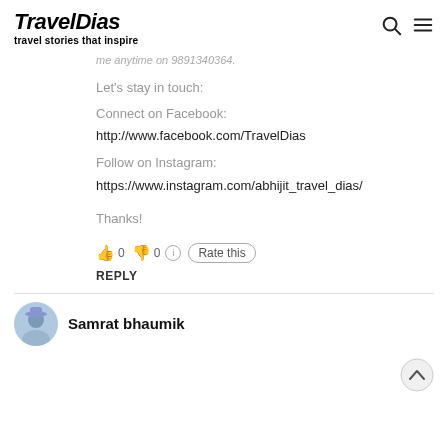TravelDias — travel stories that inspire
me anytime on 9891340364.
Let's stay in touch:
Connect on Facebook:
http://www.facebook.com/TravelDias
Follow on Instagram:
https://www.instagram.com/abhijit_travel_dias/
Thanks!
👍 0 👎 0 ℹ Rate this
REPLY
Samrat bhaumik